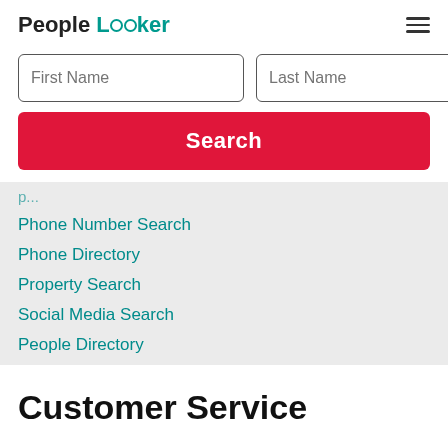PeopleLooker
[Figure (screenshot): Search form with First Name and Last Name input fields and a red Search button]
Phone Number Search
Phone Directory
Property Search
Social Media Search
People Directory
Customer Service